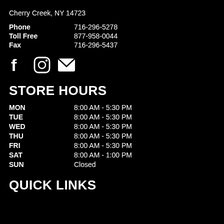Cherry Creek, NY 14723
Phone   716-296-5278
Toll Free   877-958-0044
Fax   716-296-5437
[Figure (illustration): Social media icons: Facebook (f), Instagram (camera outline), Email (envelope)]
STORE HOURS
MON   8:00 AM - 5:30 PM
TUE   8:00 AM - 5:30 PM
WED   8:00 AM - 5:30 PM
THU   8:00 AM - 5:30 PM
FRI   8:00 AM - 5:30 PM
SAT   8:00 AM - 1:00 PM
SUN   Closed
QUICK LINKS